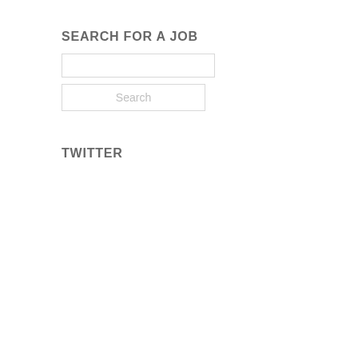SEARCH FOR A JOB
[Figure (screenshot): Search input text field, empty, with light gray border]
[Figure (screenshot): Search button with placeholder text 'Search' in light gray]
TWITTER